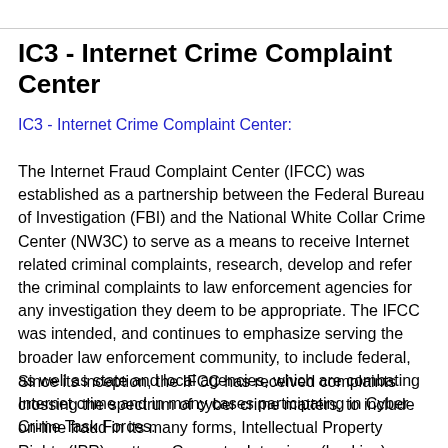IC3 - Internet Crime Complaint Center
IC3 - Internet Crime Complaint Center:
The Internet Fraud Complaint Center (IFCC) was established as a partnership between the Federal Bureau of Investigation (FBI) and the National White Collar Crime Center (NW3C) to serve as a means to receive Internet related criminal complaints, research, develop and refer the criminal complaints to law enforcement agencies for any investigation they deem to be appropriate. The IFCC was intended, and continues to emphasize serving the broader law enforcement community, to include federal, as well as state and local agencies, which are combating Internet crime and in many cases participating in Cyber Crime Task Forces.
Since its inception, the IFCC has received complaints crossing the spectrum of cyber crime matters, to include on-line fraud in its many forms, Intellectual Property Rights (IPR) matters, Computer Intrusions (hacking), Economic...